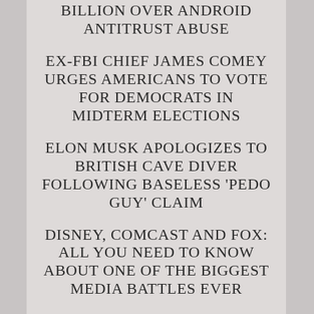EU FINES GOOGLE $5 BILLION OVER ANDROID ANTITRUST ABUSE
EX-FBI CHIEF JAMES COMEY URGES AMERICANS TO VOTE FOR DEMOCRATS IN MIDTERM ELECTIONS
ELON MUSK APOLOGIZES TO BRITISH CAVE DIVER FOLLOWING BASELESS 'PEDO GUY' CLAIM
DISNEY, COMCAST AND FOX: ALL YOU NEED TO KNOW ABOUT ONE OF THE BIGGEST MEDIA BATTLES EVER
XIAOMI SHARES NOTCH NEW HIGH AFTER HONG KONG, MAINLAND CHINA STOCK EXCHANGES REACH AGREEMENT